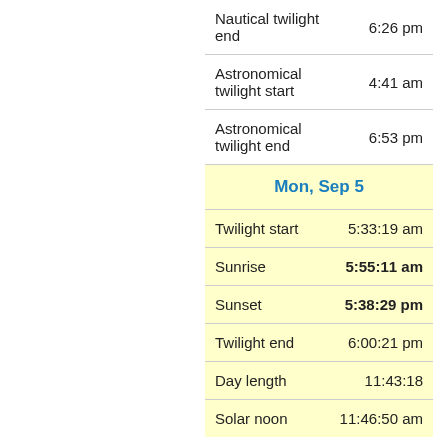| Event | Time |
| --- | --- |
| Nautical twilight end | 6:26 pm |
| Astronomical twilight start | 4:41 am |
| Astronomical twilight end | 6:53 pm |
| Mon, Sep 5 |  |
| Twilight start | 5:33:19 am |
| Sunrise | 5:55:11 am |
| Sunset | 5:38:29 pm |
| Twilight end | 6:00:21 pm |
| Day length | 11:43:18 |
| Solar noon | 11:46:50 am |